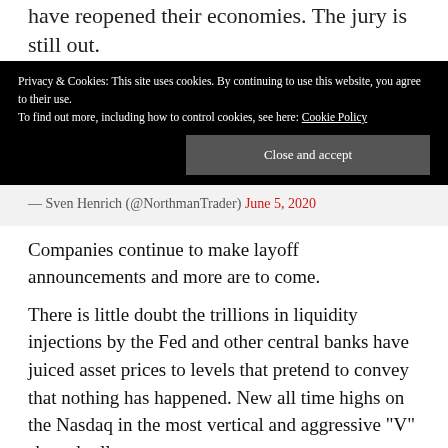have reopened their economies. The jury is still out.
Privacy & Cookies: This site uses cookies. By continuing to use this website, you agree to their use.
To find out more, including how to control cookies, see here: Cookie Policy
Close and accept
— Sven Henrich (@NorthmanTrader) June 5, 2020
Companies continue to make layoff announcements and more are to come.
There is little doubt the trillions in liquidity injections by the Fed and other central banks have juiced asset prices to levels that pretend to convey that nothing has happened. New all time highs on the Nasdaq in the most vertical and aggressive "V" shaped rally ever.
[Figure (photo): Portrait photo of an older bald man]
73-year-old American entrepreneur issues warning
Stansberry Research